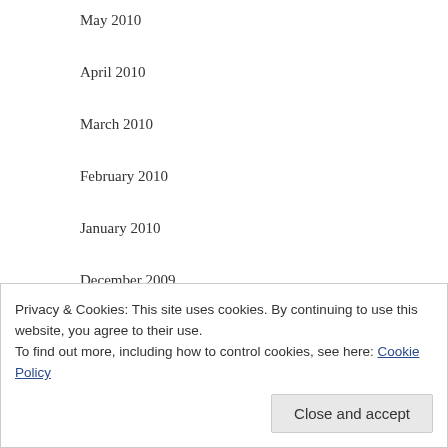May 2010
April 2010
March 2010
February 2010
January 2010
December 2009
November 2009
October 2009
September 2009
August 2009
Privacy & Cookies: This site uses cookies. By continuing to use this website, you agree to their use.
To find out more, including how to control cookies, see here: Cookie Policy
Close and accept